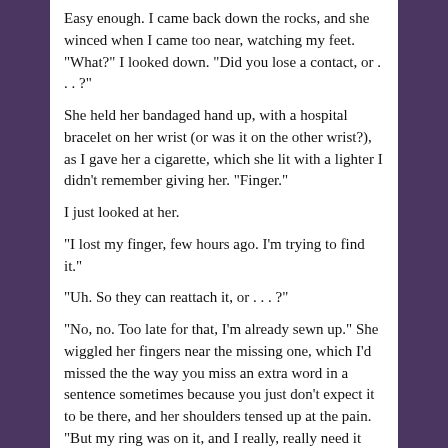Easy enough. I came back down the rocks, and she winced when I came too near, watching my feet. "What?" I looked down. "Did you lose a contact, or . . . ?"
She held her bandaged hand up, with a hospital bracelet on her wrist (or was it on the other wrist?), as I gave her a cigarette, which she lit with a lighter I didn't remember giving her. "Finger."
I just looked at her.
"I lost my finger, few hours ago. I'm trying to find it."
"Uh. So they can reattach it, or . . . ?"
"No, no. Too late for that, I'm already sewn up." She wiggled her fingers near the missing one, which I'd missed the the way you miss an extra word in a sentence sometimes because you just don't expect it to be there, and her shoulders tensed up at the pain. "But my ring was on it, and I really, really need it back." She sighed around the drag of smoke. "Thanks for the cigarette?" She made it a question but there really wasn't an answer, so she was closer to 20 than 26.